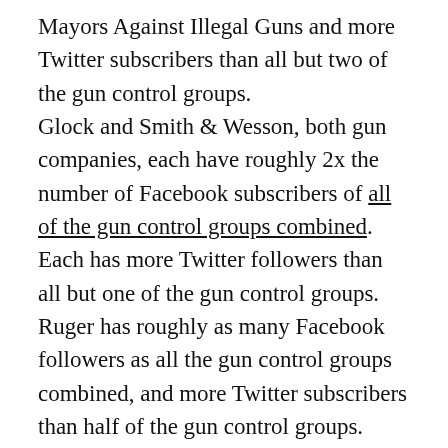Mayors Against Illegal Guns and more Twitter subscribers than all but two of the gun control groups. Glock and Smith & Wesson, both gun companies, each have roughly 2x the number of Facebook subscribers of all of the gun control groups combined. Each has more Twitter followers than all but one of the gun control groups. Ruger has roughly as many Facebook followers as all the gun control groups combined, and more Twitter subscribers than half of the gun control groups. Even though there’s essentially no effort involved in subscribing to a group’s Facebook or Twitter feed and people can subscribe with a single click, the gun control groups have a